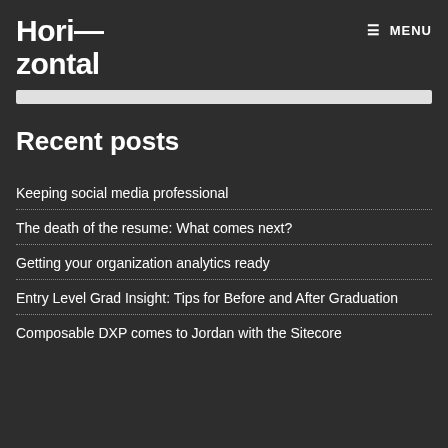Hori—
zontal
≡ MENU
Recent posts
Keeping social media professional
The death of the resume: What comes next?
Getting your organization analytics ready
Entry Level Grad Insight: Tips for Before and After Graduation
Composable DXP comes to Jordan with the Sitecore